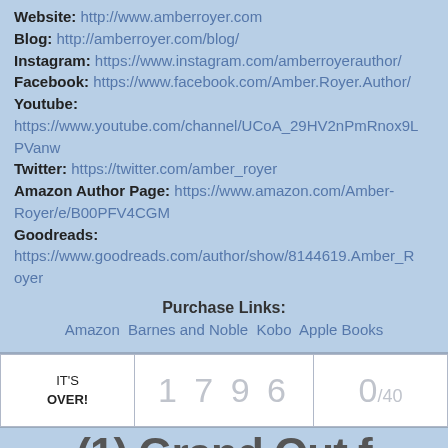Website: http://www.amberroyer.com
Blog: http://amberroyer.com/blog/
Instagram: https://www.instagram.com/amberroyerauthor/
Facebook: https://www.facebook.com/Amber.Royer.Author/
Youtube: https://www.youtube.com/channel/UCoA_29HV2nPmRnox9LPVanw
Twitter: https://twitter.com/amber_royer
Amazon Author Page: https://www.amazon.com/Amber-Royer/e/B00PFV4CGM
Goodreads: https://www.goodreads.com/author/show/8144619.Amber_Royer
Purchase Links:
Amazon Barnes and Noble Kobo Apple Books
| IT'S OVER! | 1 7 9 6 | 0/40 |
(1) Grand Out f...